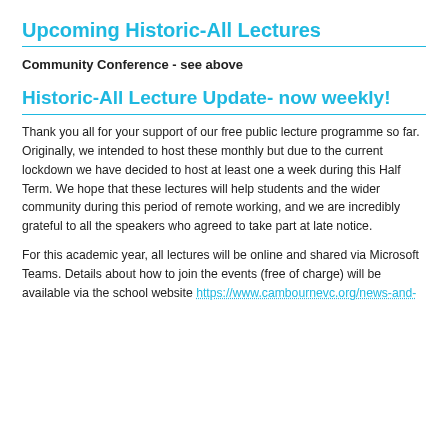Upcoming Historic-All Lectures
Community Conference - see above
Historic-All Lecture Update- now weekly!
Thank you all for your support of our free public lecture programme so far. Originally, we intended to host these monthly but due to the current lockdown we have decided to host at least one a week during this Half Term. We hope that these lectures will help students and the wider community during this period of remote working, and we are incredibly grateful to all the speakers who agreed to take part at late notice.
For this academic year, all lectures will be online and shared via Microsoft Teams. Details about how to join the events (free of charge) will be available via the school website https://www.cambournevc.org/news-and-